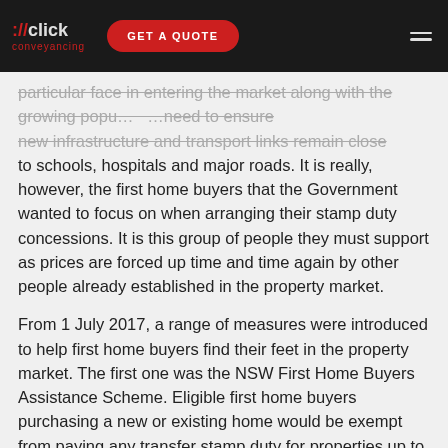://click conveyancing | GET A QUOTE
particular face in entering the market along with the growing population, they need to ensure new infrastructure and transport links remain close to schools, hospitals and major roads. It is really, however, the first home buyers that the Government wanted to focus on when arranging their stamp duty concessions. It is this group of people they must support as prices are forced up time and time again by other people already established in the property market.
From 1 July 2017, a range of measures were introduced to help first home buyers find their feet in the property market. The first one was the NSW First Home Buyers Assistance Scheme. Eligible first home buyers purchasing a new or existing home would be exempt from paying any transfer stamp duty for properties up to the value of $650,000. Concessions on duty would be available for eligible first home